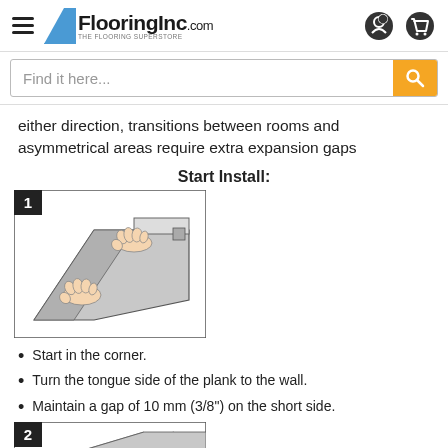FlooringInc.com
[Figure (screenshot): Search bar with placeholder text 'Find it here...' and orange search button]
either direction, transitions between rooms and asymmetrical areas require extra expansion gaps
Start Install:
[Figure (illustration): Step 1 installation diagram showing hands placing a flooring plank in a corner with a spacer at the wall]
Start in the corner.
Turn the tongue side of the plank to the wall.
Maintain a gap of 10 mm (3/8") on the short side.
[Figure (illustration): Step 2 installation diagram (partially visible at bottom)]